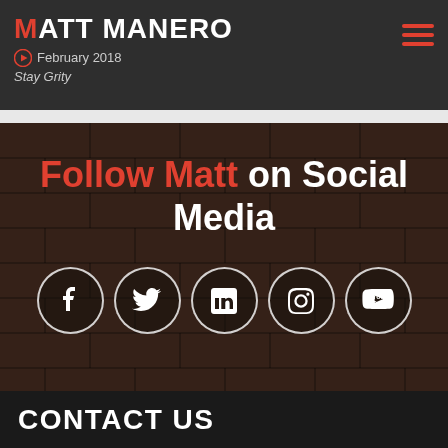MATT MANERO – February 2018 – Stay Grity
Follow Matt on Social Media
[Figure (infographic): Five social media icon circles: Facebook, Twitter, LinkedIn, Instagram, YouTube]
CONTACT US